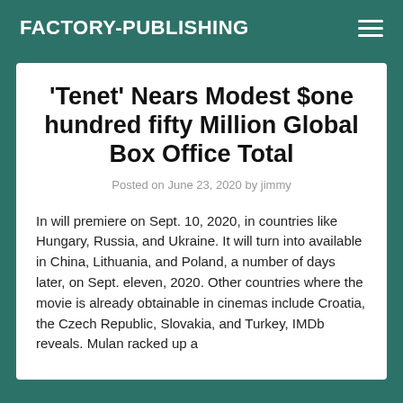FACTORY-PUBLISHING
'Tenet' Nears Modest $one hundred fifty Million Global Box Office Total
Posted on June 23, 2020 by jimmy
In will premiere on Sept. 10, 2020, in countries like Hungary, Russia, and Ukraine. It will turn into available in China, Lithuania, and Poland, a number of days later, on Sept. eleven, 2020. Other countries where the movie is already obtainable in cinemas include Croatia, the Czech Republic, Slovakia, and Turkey, IMDb reveals. Mulan racked up a